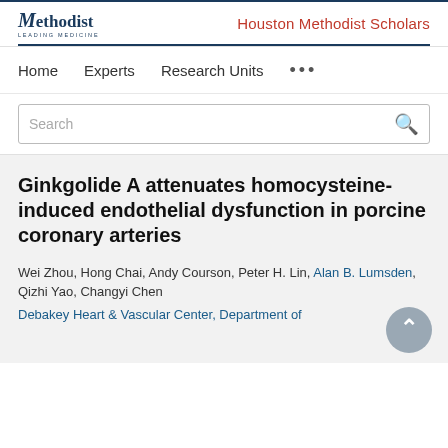Houston Methodist Scholars
Home   Experts   Research Units   ...
Ginkgolide A attenuates homocysteine-induced endothelial dysfunction in porcine coronary arteries
Wei Zhou, Hong Chai, Andy Courson, Peter H. Lin, Alan B. Lumsden, Qizhi Yao, Changyi Chen
Debakey Heart & Vascular Center, Department of...